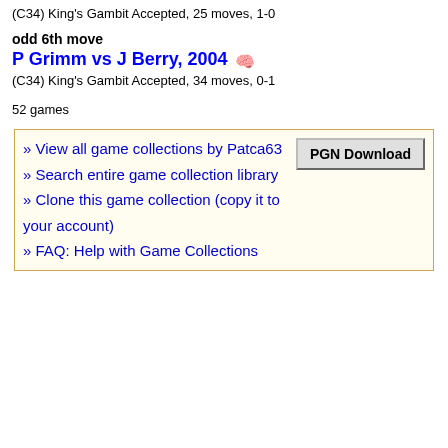(C34) King's Gambit Accepted, 25 moves, 1-0
odd 6th move
P Grimm vs J Berry, 2004
(C34) King's Gambit Accepted, 34 moves, 0-1
52 games
View all game collections by Patca63
Search entire game collection library
Clone this game collection (copy it to your account)
FAQ: Help with Game Collections